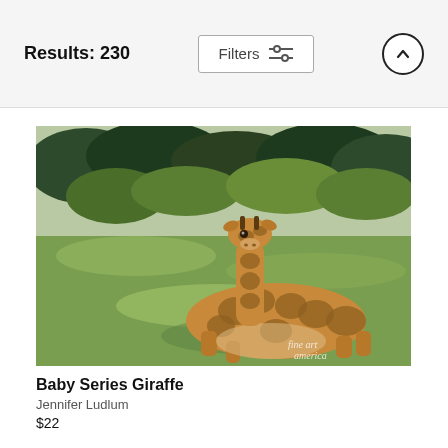Results: 230
[Figure (photo): A baby giraffe lying on green grass in a field, looking toward the camera, with trees in the background. Watermark reads 'fine art america'.]
Baby Series Giraffe
Jennifer Ludlum
$22